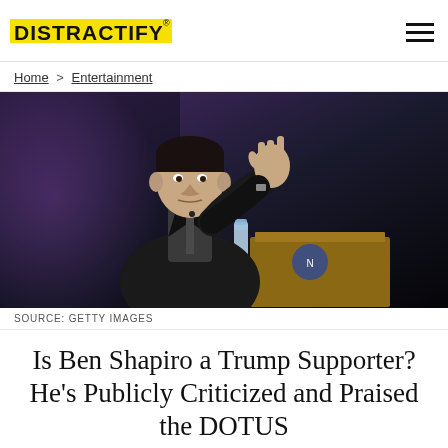DISTRACTIFY
Home > Entertainment
[Figure (photo): Man in dark suit speaking at a podium with a water bottle nearby, gesturing with his right hand, against a dark background with purple lighting.]
SOURCE: GETTY IMAGES
Is Ben Shapiro a Trump Supporter? He's Publicly Criticized and Praised the DOTUS